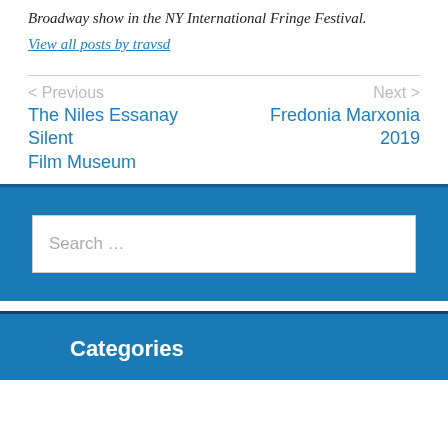Broadway show in the NY International Fringe Festival.
View all posts by travsd
< Previous
The Niles Essanay Silent Film Museum
Next >
Fredonia Marxonia 2019
Search ...
Categories